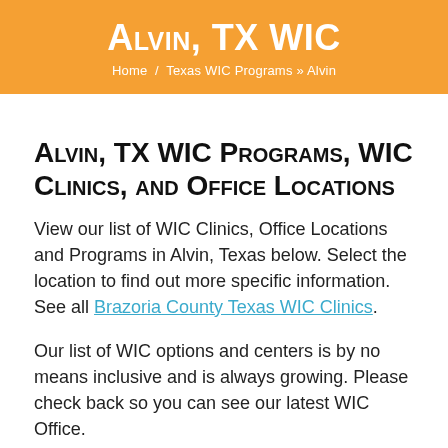Alvin, TX WIC
Home / Texas WIC Programs » Alvin
Alvin, TX WIC Programs, WIC Clinics, and Office Locations
View our list of WIC Clinics, Office Locations and Programs in Alvin, Texas below. Select the location to find out more specific information. See all Brazoria County Texas WIC Clinics.
Our list of WIC options and centers is by no means inclusive and is always growing. Please check back so you can see our latest WIC Office.